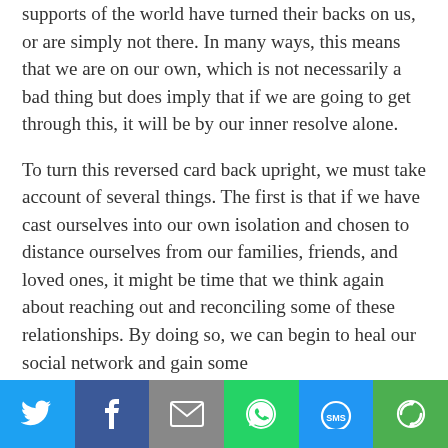supports of the world have turned their backs on us, or are simply not there. In many ways, this means that we are on our own, which is not necessarily a bad thing but does imply that if we are going to get through this, it will be by our inner resolve alone.
To turn this reversed card back upright, we must take account of several things. The first is that if we have cast ourselves into our own isolation and chosen to distance ourselves from our families, friends, and loved ones, it might be time that we think again about reaching out and reconciling some of these relationships. By doing so, we can begin to heal our social network and gain some
[Figure (infographic): Social sharing bar with 6 buttons: Twitter (blue bird icon), Facebook (blue f icon), Email (grey envelope icon), WhatsApp (green phone icon), SMS (blue SMS icon), More (green circular arrow icon)]